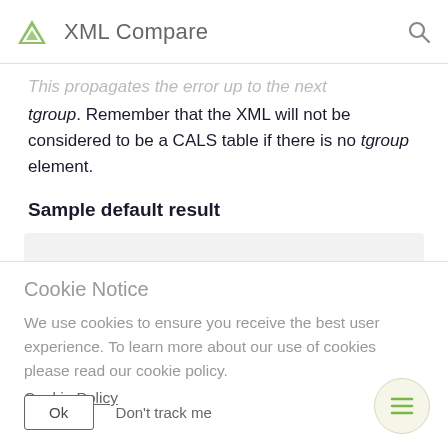XML Compare
This propagates the error up to the next tgroup. Remember that the XML will not be considered to be a CALS table if there is no tgroup element.
Sample default result
Cookie Notice
We use cookies to ensure you receive the best user experience. To learn more about our use of cookies please read our cookie policy.
Cookie Policy
Ok   Don't track me